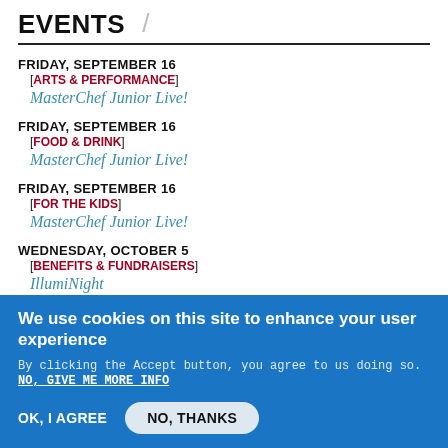EVENTS
FRIDAY, SEPTEMBER 16 [ARTS & PERFORMANCE] MasterChef Junior Live!
FRIDAY, SEPTEMBER 16 [FOOD & DRINK] MasterChef Junior Live!
FRIDAY, SEPTEMBER 16 [FOR THE KIDS] MasterChef Junior Live!
WEDNESDAY, OCTOBER 5 [BENEFITS & FUNDRAISERS] IllumiNight
We use cookies on this site to enhance your user experience
By clicking the Accept button, you agree to us doing so.
NO, GIVE ME MORE INFO
OK, I AGREE   NO, THANKS